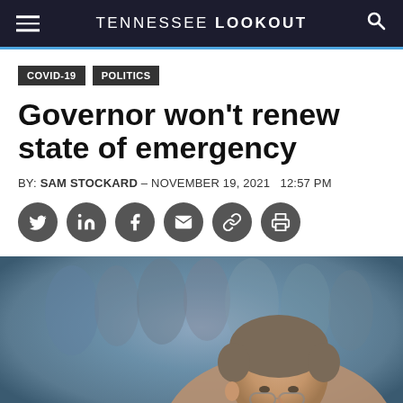TENNESSEE LOOKOUT
COVID-19
POLITICS
Governor won't renew state of emergency
BY: SAM STOCKARD - NOVEMBER 19, 2021  12:57 PM
[Figure (photo): Portrait photo of a man (likely Governor) in front of a blurred painting with historical figures in the background]